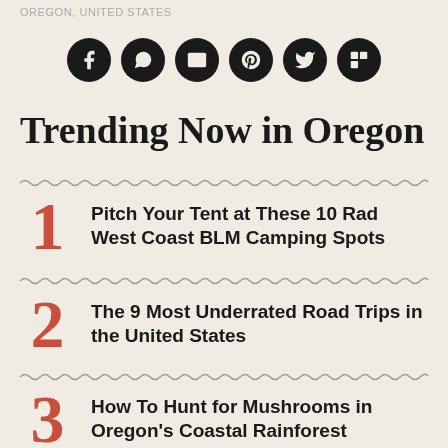OREGON, UNITED STATES
[Figure (infographic): Social media sharing icons: Facebook, WhatsApp, Email, Pinterest, Twitter, Flipboard — all black circles with white icons]
Trending Now in Oregon
1 Pitch Your Tent at These 10 Rad West Coast BLM Camping Spots
2 The 9 Most Underrated Road Trips in the United States
3 How To Hunt for Mushrooms in Oregon's Coastal Rainforest